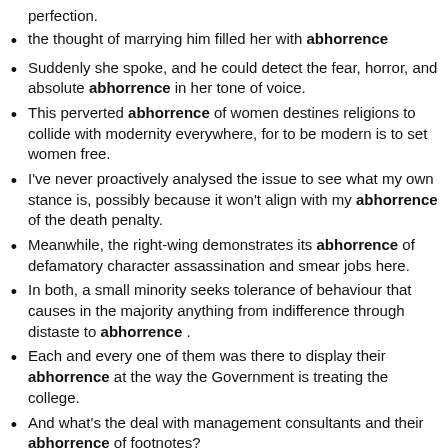perfection.
the thought of marrying him filled her with abhorrence
Suddenly she spoke, and he could detect the fear, horror, and absolute abhorrence in her tone of voice.
This perverted abhorrence of women destines religions to collide with modernity everywhere, for to be modern is to set women free.
I've never proactively analysed the issue to see what my own stance is, possibly because it won't align with my abhorrence of the death penalty.
Meanwhile, the right-wing demonstrates its abhorrence of defamatory character assassination and smear jobs here.
In both, a small minority seeks tolerance of behaviour that causes in the majority anything from indifference through distaste to abhorrence .
Each and every one of them was there to display their abhorrence at the way the Government is treating the college.
And what's the deal with management consultants and their abhorrence of footnotes?